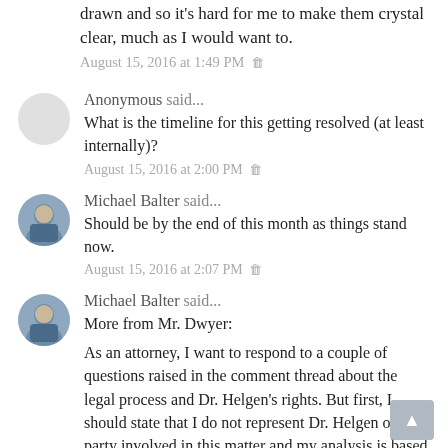drawn and so it's hard for me to make them crystal clear, much as I would want to.
August 15, 2016 at 1:49 PM
Anonymous said...
What is the timeline for this getting resolved (at least internally)?
August 15, 2016 at 2:00 PM
Michael Balter said...
Should be by the end of this month as things stand now.
August 15, 2016 at 2:07 PM
Michael Balter said...
More from Mr. Dwyer:

As an attorney, I want to respond to a couple of questions raised in the comment thread about the legal process and Dr. Helgen's rights. But first, I should state that I do not represent Dr. Helgen or any party involved in this matter and my analysis is based solely on Mr. Balter's article. My analysis could change based on the